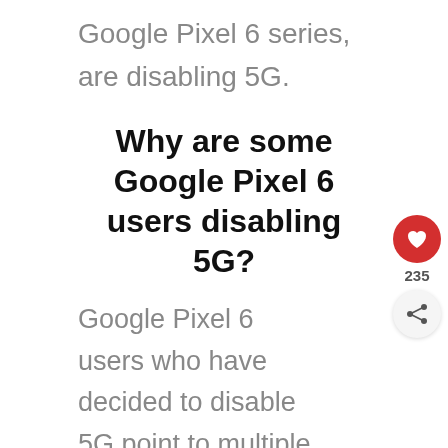Google Pixel 6 series, are disabling 5G.
Why are some Google Pixel 6 users disabling 5G?
Google Pixel 6 users who have decided to disable 5G point to multiple reasons why they made that decision.
Throughout this story, we will tell you the main reasons why some Google Pixel 6 users are disabling 5G. We